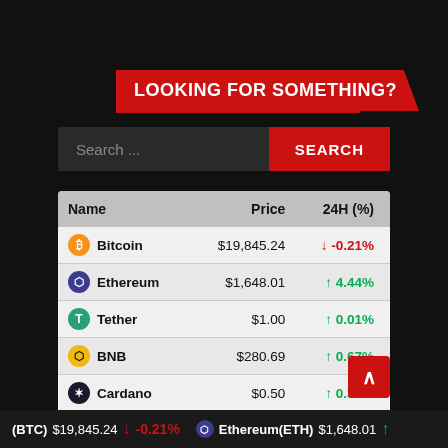LOOKING FOR SOMETHING?
Search ...
| Name | Price | 24H (%) |
| --- | --- | --- |
| Bitcoin | $19,845.24 | ↓ -0.21% |
| Ethereum | $1,648.01 | ↑ 4.44% |
| Tether | $1.00 | ↑ 0.01% |
| BNB | $280.69 | ↑ 0.67% |
| Cardano | $0.50 | ↑ 0.31% |
| XRP | $0.335577 | ↑ 1.37% |
| Polkadot | $7.56 | ↓ -0.31% |
| Litecoin | $60.36 | ↓ -0.17% |
(BTC) $19,845.24 ↓ -0.21%   Ethereum(ETH) $1,648.01 ↑